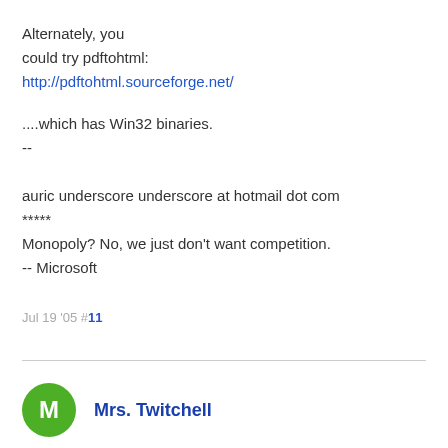Alternately, you could try pdftohtml:
http://pdftohtml.sourceforge.net/

....which has Win32 binaries.
--
auric underscore underscore at hotmail dot com
*****
Monopoly? No, we just don't want competition.
-- Microsoft
Jul 19 '05 #11
Mrs. Twitchell